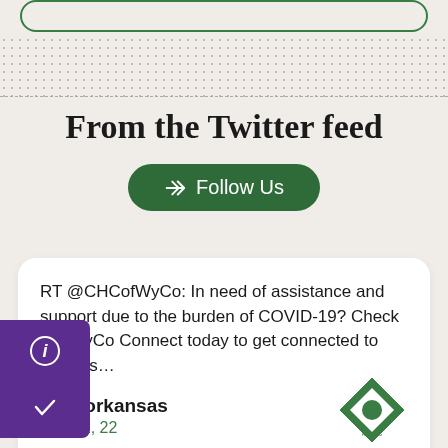From the Twitter feed
Follow Us
RT @CHCofWyCo: In need of assistance and support due to the burden of COVID-19? Check out WyCo Connect today to get connected to free res…
KLSforkansas
Aug 22, 22